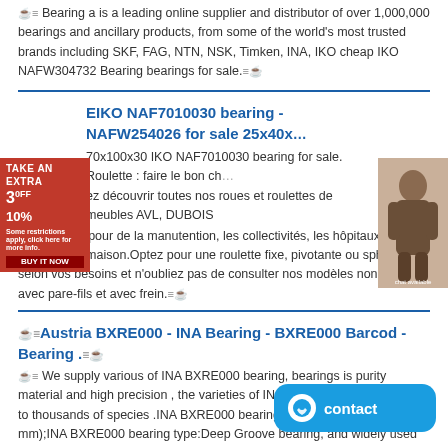Bearing a is a leading online supplier and distributor of over 1,000,000 bearings and ancillary products, from some of the world's most trusted brands including SKF, FAG, NTN, NSK, Timken, INA, IKO cheap IKO NAFW304732 Bearing bearings for sale.
EIKO NAF7010030 bearing - NAFW254026 for sale 25x40x...
70x100x30 IKO NAF7010030 bearing for sale. Roulette : faire le bon ch... ez découvrir toutes nos roues et roulettes de meubles AVL, DUBOIS nécessaires pour de la manutention, les collectivités, les hôpitaux ou vos meubles de maison.Optez pour une roulette fixe, pivotante ou sphérique selon vos besoins et n'oubliez pas de consulter nos modèles non tachant, avec pare-fils et avec frein.
Austria BXRE000 - INA Bearing - BXRE000 Barcod - Bearing .
We supply various of INA BXRE000 bearing, bearings is purity material and high precision , the varieties of INA BXRE000 bearing is up to thousands of species .INA BXRE000 bearing size:( mm x mm x mm);INA BXRE000 bearing type:Deep Groove bearing, and widely used in different environment and mechanical.The purpose of INA BXRE000 bearing is ... control.
NAF173013 IKO Needle Roller Bearing 17mm*30mm*